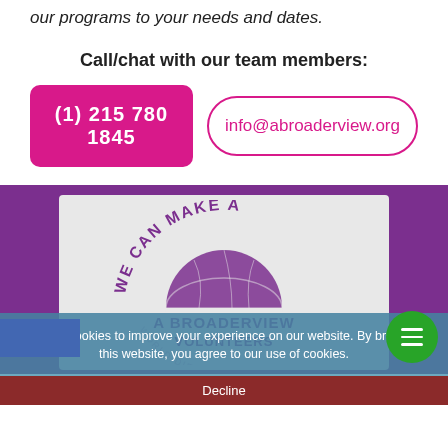our programs to your needs and dates.
Call/chat with our team members:
(1) 215 780 1845
info@abroaderview.org
[Figure (logo): A Broader View Volunteers logo with globe and text 'WE CAN MAKE A A BROADER VIEW VOLUNTEERS WORLD DIFFERENCE' in purple on light gray background]
We use cookies to improve your experience on our website. By browsing this website, you agree to our use of cookies.
Ok, I've understood!
Decline